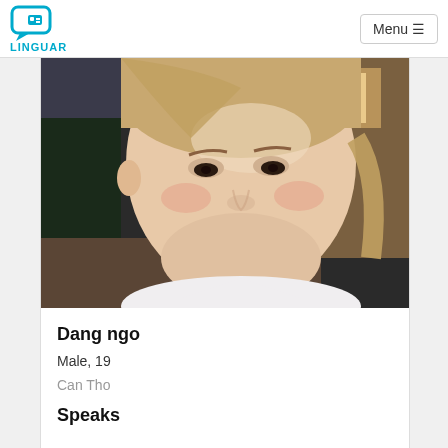[Figure (logo): Linguar app logo - speech bubble icon in teal/cyan color with text LINGUAR below]
Menu ≡
[Figure (photo): Close-up selfie photo of a young Asian person with light skin, wearing a white top, with reddish-brown lip color, taken indoors]
Dang ngo
Male, 19
Can Tho
Speaks